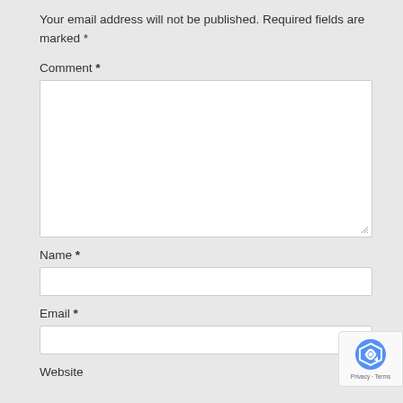Your email address will not be published. Required fields are marked *
Comment *
[Figure (screenshot): Empty comment textarea input field with resize handle]
Name *
[Figure (screenshot): Empty name text input field]
Email *
[Figure (screenshot): Empty email text input field]
Website
[Figure (screenshot): reCAPTCHA Privacy - Terms badge with arrow icon]